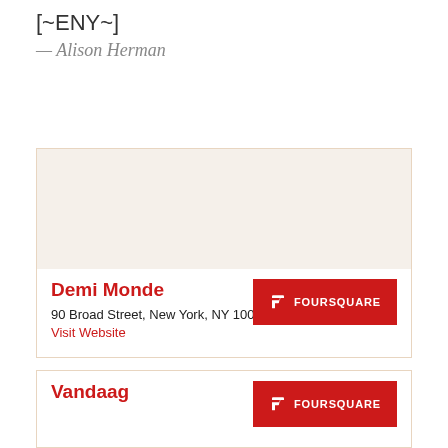[~ENY~]
— Alison Herman
Demi Monde
90 Broad Street, New York, NY 10004
Visit Website
FOURSQUARE
Vandaag
FOURSQUARE